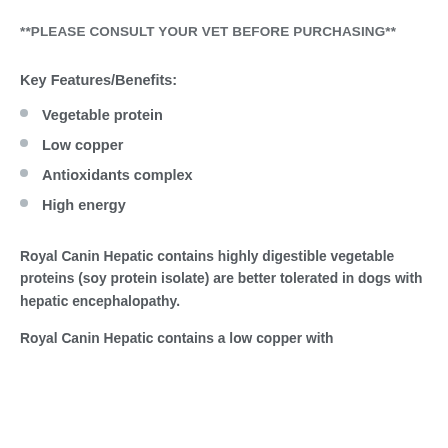**PLEASE CONSULT YOUR VET BEFORE PURCHASING**
Key Features/Benefits:
Vegetable protein
Low copper
Antioxidants complex
High energy
Royal Canin Hepatic contains highly digestible vegetable proteins (soy protein isolate) are better tolerated in dogs with hepatic encephalopathy.
Royal Canin Hepatic contains a low copper with